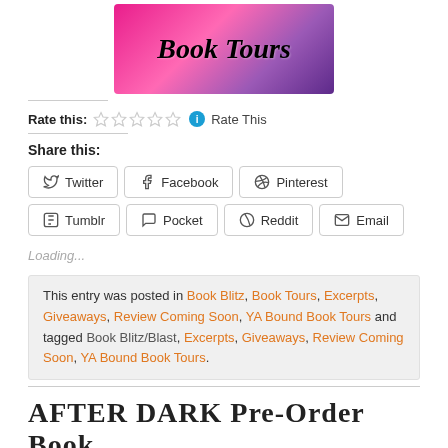[Figure (illustration): Book Tours banner image with pink and purple background, stylized text reading 'Book Tours' in decorative font]
Rate this: ☆☆☆☆☆ ℹ Rate This
Share this:
Twitter  Facebook  Pinterest  Tumblr  Pocket  Reddit  Email
Loading...
This entry was posted in Book Blitz, Book Tours, Excerpts, Giveaways, Review Coming Soon, YA Bound Book Tours and tagged Book Blitz/Blast, Excerpts, Giveaways, Review Coming Soon, YA Bound Book Tours.
AFTER DARK Pre-Order Book